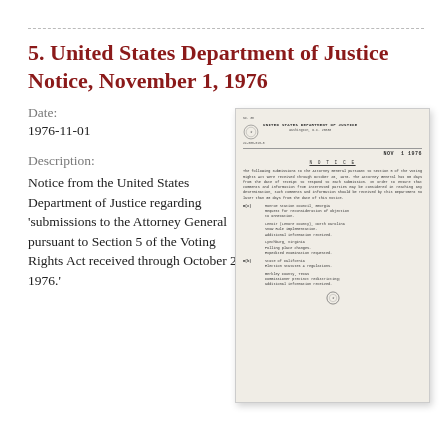5. United States Department of Justice Notice, November 1, 1976
Date:
1976-11-01
Description:
Notice from the United States Department of Justice regarding 'submissions to the Attorney General pursuant to Section 5 of the Voting Rights Act received through October 26, 1976.'
[Figure (photo): Scanned image of a United States Department of Justice Notice dated November 1, 1976, showing official letterhead with department seal, reference number, date, a NOTICE heading, body text about submissions to the Attorney General under Section 5 of the Voting Rights Act, and several numbered items listing jurisdictions including Monroe Station Council Georgia, Lenoir County North Carolina, Lynchburg Virginia, State of California, and Berkley County Texas.]